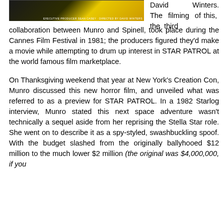[Figure (photo): Movie poster or promotional image with dark background, yellow tones, credits reading 'SEAN CASEY' and 'DAVID WINTERS']
David Winters. The filming of this, the third collaboration between Munro and Spinell, took place during the Cannes Film Festival in 1981; the producers figured they'd make a movie while attempting to drum up interest in STAR PATROL at the world famous film marketplace.

On Thanksgiving weekend that year at New York's Creation Con, Munro discussed this new horror film, and unveiled what was referred to as a preview for STAR PATROL. In a 1982 Starlog interview, Munro stated this next space adventure wasn't technically a sequel aside from her reprising the Stella Star role. She went on to describe it as a spy-styled, swashbuckling spoof. With the budget slashed from the originally ballyhooed $12 million to the much lower $2 million (the original was $4,000,000, if you